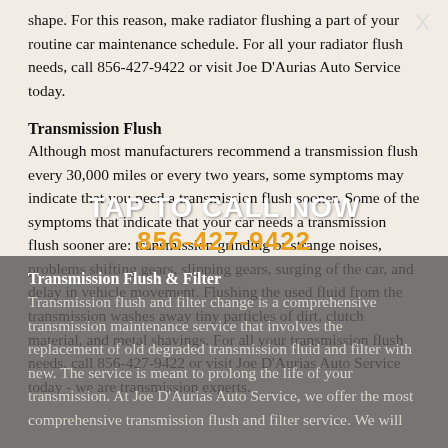shape. For this reason, make radiator flushing a part of your routine car maintenance schedule. For all your radiator flush needs, call 856-427-9422 or visit Joe D'Aurias Auto Service today.
Transmission Flush
Although most manufacturers recommend a transmission flush every 30,000 miles or every two years, some symptoms may indicate that you need a transmission flush sooner. Some of the symptoms that indicate that your car needs a transmission flush sooner are: transmission grinding or strange noises, problems shifting gears, slipping gears, surging of the car, and delay in vehicle movement. Flushing the used fluid from the transmission washes away tiny particles of dirt, clutch material, and metal shavings. For all your transmission flush needs, call 856-427-9422 or visit Joe D'Aurias Auto Service today - we are transmission experts.
Transmission Flush & Filter
Transmission flush and filter change is a comprehensive transmission maintenance service that involves the replacement of old degraded transmission fluid and filter with new. The service is meant to prolong the life of your transmission. At Joe D'Aurias Auto Service, we offer the most comprehensive transmission flush and filter service. We will